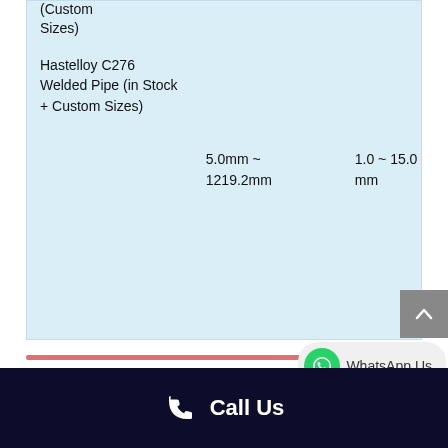(Custom Sizes)
| Product | OD | Wall Thickness |
| --- | --- | --- |
| Hastelloy C276 Welded Pipe (in Stock + Custom Sizes) | 5.0mm ~ 1219.2mm | 1.0 ~ 15.0 mm |
WhatsApp Us
Call Us